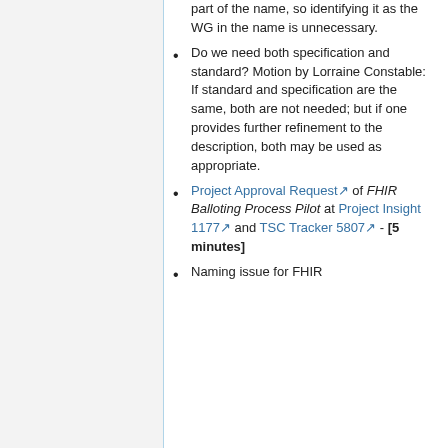part of the name, so identifying it as the WG in the name is unnecessary.
Do we need both specification and standard? Motion by Lorraine Constable: If standard and specification are the same, both are not needed; but if one provides further refinement to the description, both may be used as appropriate.
Project Approval Request of FHIR Balloting Process Pilot at Project Insight 1177 and TSC Tracker 5807 - [5 minutes]
Naming issue for FHIR